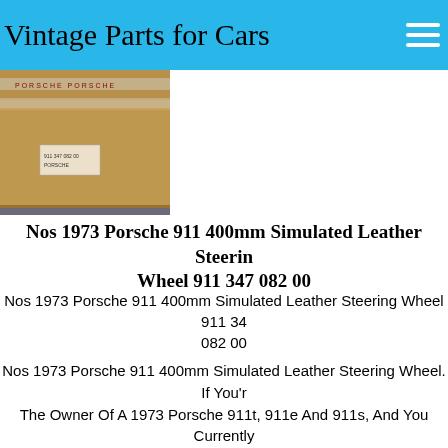Vintage Parts for Cars
[Figure (photo): A cardboard box with Porsche branding tape, partially opened, showing a packaged item inside.]
Nos 1973 Porsche 911 400mm Simulated Leather Steering Wheel 911 347 082 00
Nos 1973 Porsche 911 400mm Simulated Leather Steering Wheel 911 347 082 00
Nos 1973 Porsche 911 400mm Simulated Leather Steering Wheel. If You're The Owner Of A 1973 Porsche 911t, 911e And 911s, And You Currently Have A Leather Steering Wheel On Your Car, You Might Think It's Correct. But It Isn't.